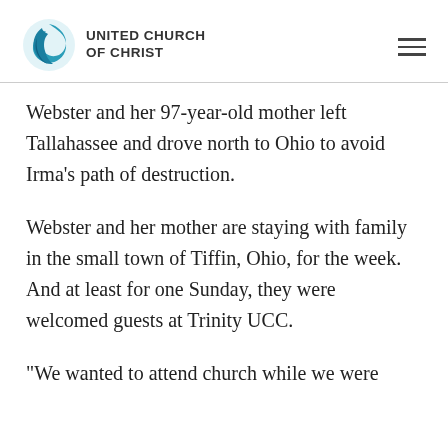UNITED CHURCH OF CHRIST
Webster and her 97-year-old mother left Tallahassee and drove north to Ohio to avoid Irma’s path of destruction.
Webster and her mother are staying with family in the small town of Tiffin, Ohio, for the week. And at least for one Sunday, they were welcomed guests at Trinity UCC.
“We wanted to attend church while we were